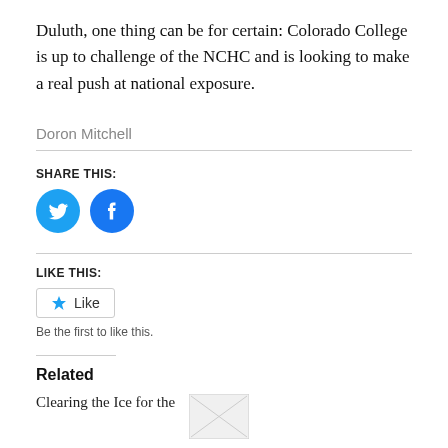Duluth, one thing can be for certain: Colorado College is up to challenge of the NCHC and is looking to make a real push at national exposure.
Doron Mitchell
SHARE THIS:
[Figure (other): Twitter share button icon (blue circle with white bird)]
[Figure (other): Facebook share button icon (blue circle with white f)]
LIKE THIS:
Like
Be the first to like this.
Related
Clearing the Ice for the